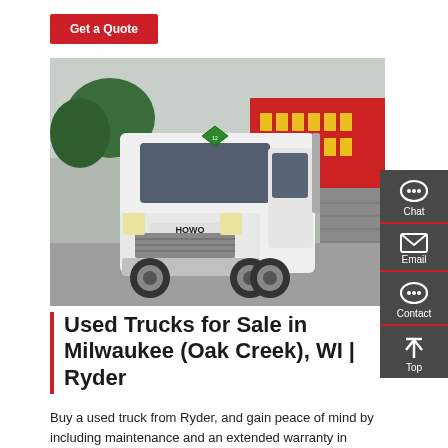Get a Quote
[Figure (photo): White HOWO semi-truck/tractor unit parked in front of a red banner with Chinese text, trees visible in background, grey brick wall on right side]
Used Trucks for Sale in Milwaukee (Oak Creek), WI | Ryder
Buy a used truck from Ryder, and gain peace of mind by including maintenance and an extended warranty in